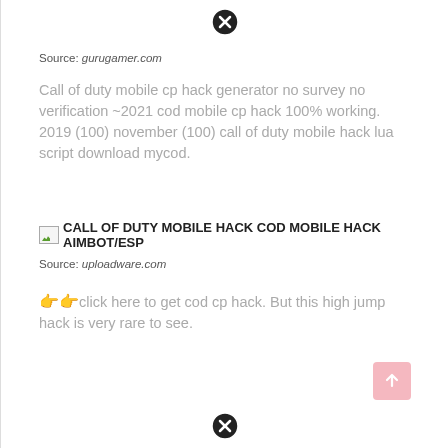[Figure (other): Close/X button circle icon at top center]
Source: gurugamer.com
Call of duty mobile cp hack generator no survey no verification ~2021 cod mobile cp hack 100% working. 2019 (100) november (100) call of duty mobile hack lua script download mycod.
[Figure (other): Broken image icon followed by bold text: CALL OF DUTY MOBILE HACK COD MOBILE HACK AIMBOT/ESP]
Source: uploadware.com
👉👉click here to get cod cp hack. But this high jump hack is very rare to see.
[Figure (other): Scroll-to-top button with upward arrow, pink background, bottom right]
[Figure (other): Close/X button circle icon at bottom center]